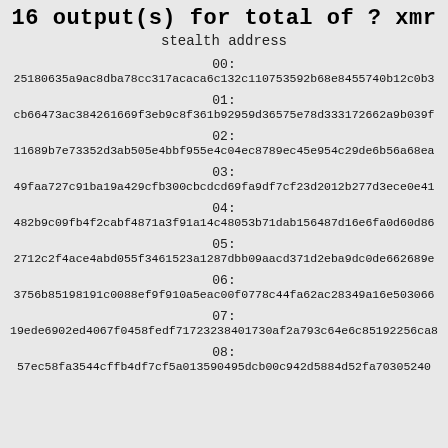16 output(s) for total of ? xmr
stealth address
00:
25180635a9ac8dba78cc317acaca6c132c110753592b68e8455740b12c0b3...
01:
cb66473ac384261669f3eb9c8f361b92959d36575e78d333172662a9b039f...
02:
11689b7e73352d3ab505e4bbf955e4c04ec8789ec45e954c29de6b56a68ea...
03:
49faa727c91ba19a429cfb300cbcdcd69fa9df7cf23d2012b277d3ece0e41...
04:
482b9c09fb4f2cabf4871a3f91a14c48053b71dab156487d16e6fa0d60d86...
05:
2712c2f4ace4abd055f3461523a1287dbb09aacd371d2eba9dc0de662689e...
06:
3756b85198191c0088ef9f910a5eac00f0778c44fa62ac28349a16e503066...
07:
19ede6902ed4067f0458fedf71723238401730af2a793c64e6c85192256ca8...
08:
57ec58fa3544cffb4df7cf5a013590495dcb00c942d5884d52fa70305240...